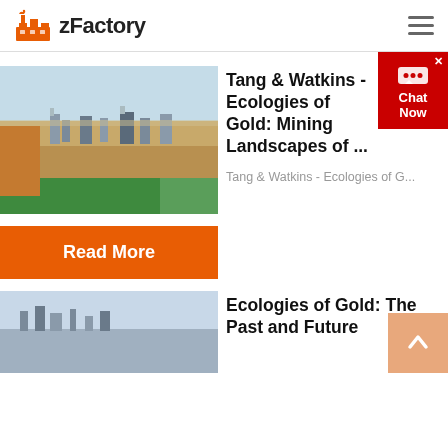zFactory
[Figure (photo): Open-pit mining site with industrial machinery, sandy terrain, and a green water pool in the foreground]
Tang & Watkins - Ecologies of Gold: Mining Landscapes of ...
Tang & Watkins - Ecologies of G...
Read More
[Figure (photo): Partial view of a second article image showing an industrial/landscape scene]
Ecologies of Gold: The Past and Future